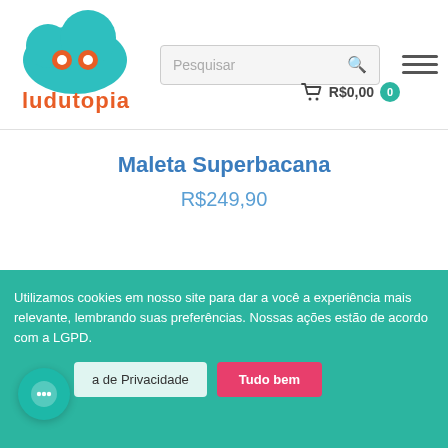[Figure (logo): Ludutopia logo — teal cloud with two orange circles as eyes, orange text 'ludutopia']
Pesquisar
Maleta Superbacana
R$249,90
Utilizamos cookies em nosso site para dar a você a experiência mais relevante, lembrando suas preferências. Nossas ações estão de acordo com a LGPD.
Política de Privacidade
Tudo bem
R$0,00